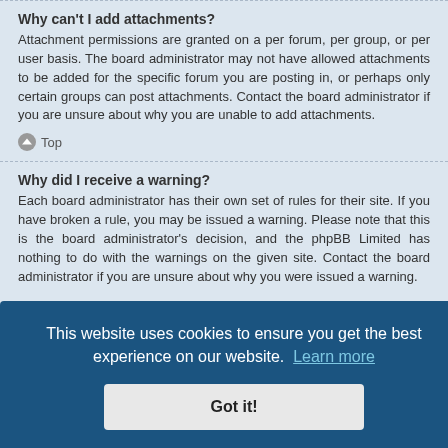Why can't I add attachments?
Attachment permissions are granted on a per forum, per group, or per user basis. The board administrator may not have allowed attachments to be added for the specific forum you are posting in, or perhaps only certain groups can post attachments. Contact the board administrator if you are unsure about why you are unable to add attachments.
Top
Why did I receive a warning?
Each board administrator has their own set of rules for their site. If you have broken a rule, you may be issued a warning. Please note that this is the board administrator's decision, and the phpBB Limited has nothing to do with the warnings on the given site. Contact the board administrator if you are unsure about why you were issued a warning.
This website uses cookies to ensure you get the best experience on our website. Learn more
Got it!